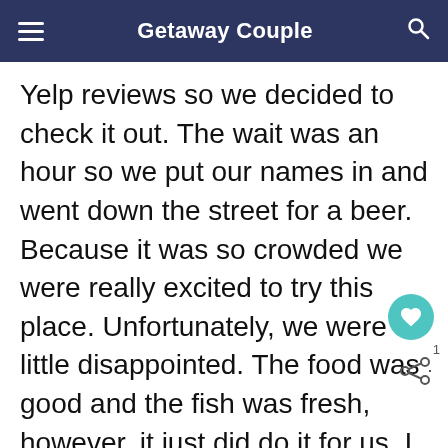Getaway Couple
Yelp reviews so we decided to check it out. The wait was an hour so we put our names in and went down the street for a beer. Because it was so crowded we were really excited to try this place. Unfortunately, we were a little disappointed. The food was good and the fish was fresh, however, it just did do it for us. I think we may be